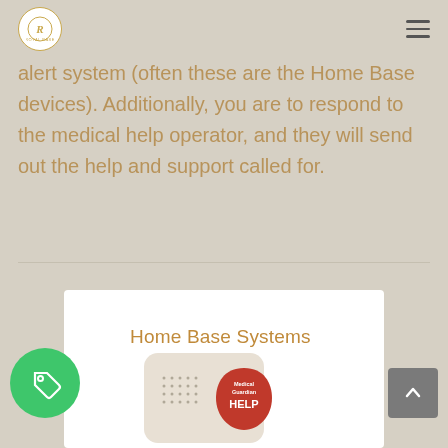Royal Base logo and navigation menu
alert system (often these are the Home Base devices). Additionally, you are to respond to the medical help operator, and they will send out the help and support called for.
Home Base Systems
[Figure (photo): Home Base medical alert device — a beige/cream colored unit with a red teardrop-shaped button labeled HELP and Medical Guardian branding]